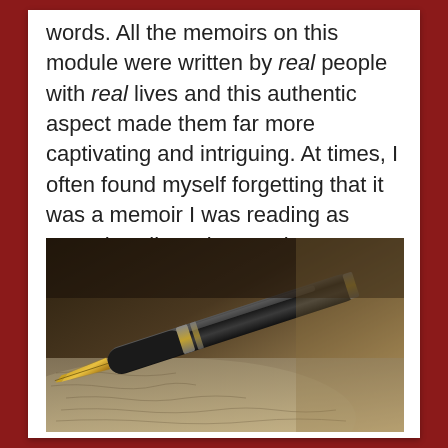words. All the memoirs on this module were written by real people with real lives and this authentic aspect made them far more captivating and intriguing. At times, I often found myself forgetting that it was a memoir I was reading as Joseph's climactic experiences
[Figure (photo): Close-up photograph of a fountain pen nib resting on handwritten paper, dark moody tones with gold and black pen details]